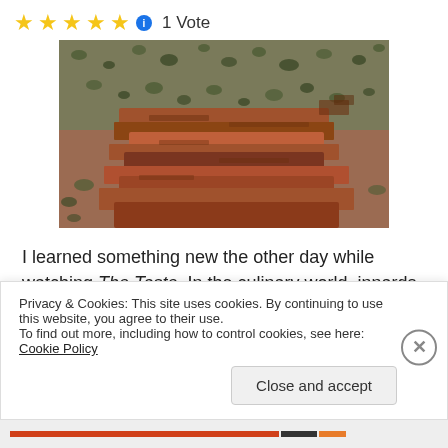★★★★★ ℹ 1 Vote
[Figure (photo): Aerial view of a canyon landscape with red rock formations and sparse green shrubs/trees]
I learned something new the other day while watching The Taste. In the culinary world, innards are called dirt. I never knew this.
Privacy & Cookies: This site uses cookies. By continuing to use this website, you agree to their use.
To find out more, including how to control cookies, see here: Cookie Policy
Close and accept